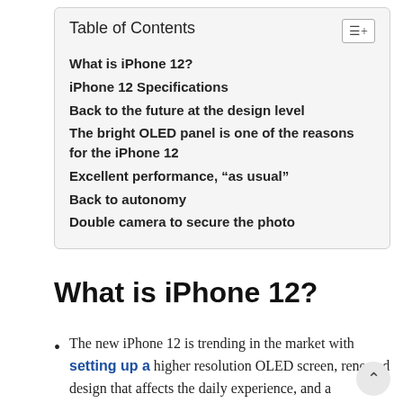Table of Contents
What is iPhone 12?
iPhone 12 Specifications
Back to the future at the design level
The bright OLED panel is one of the reasons for the iPhone 12
Excellent performance, “as usual”
Back to autonomy
Double camera to secure the photo
What is iPhone 12?
The new iPhone 12 is trending in the market with setting up a higher resolution OLED screen, renewed design that affects the daily experience, and a conservative dual camera on